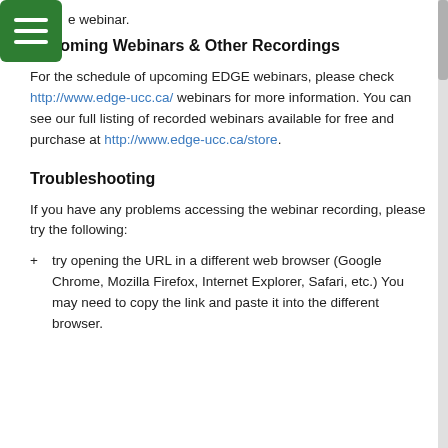[Figure (other): Green hamburger menu button icon in upper left corner]
the free on-demand webinar. Adobe Connect is required to view the webinar.
Upcoming Webinars & Other Recordings
For the schedule of upcoming EDGE webinars, please check http://www.edge-ucc.ca/ webinars for more information. You can see our full listing of recorded webinars available for free and purchase at http://www.edge-ucc.ca/store.
Troubleshooting
If you have any problems accessing the webinar recording, please try the following:
try opening the URL in a different web browser (Google Chrome, Mozilla Firefox, Internet Explorer, Safari, etc.) You may need to copy the link and paste it into the different browser.